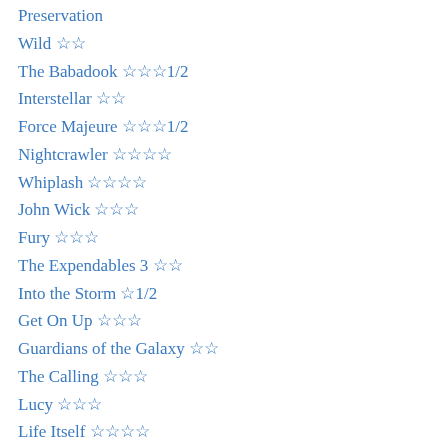Preservation
Wild ☆☆
The Babadook ☆☆☆1/2
Interstellar ☆☆
Force Majeure ☆☆☆1/2
Nightcrawler ☆☆☆☆
Whiplash ☆☆☆☆
John Wick ☆☆☆
Fury ☆☆☆
The Expendables 3 ☆☆
Into the Storm ☆1/2
Get On Up ☆☆☆
Guardians of the Galaxy ☆☆
The Calling ☆☆☆
Lucy ☆☆☆
Life Itself ☆☆☆☆
Dawn of Planet of Apes ☆☆
The Purge: Anarchy
Venus in Fur ☆☆☆
Rage ☆1/2